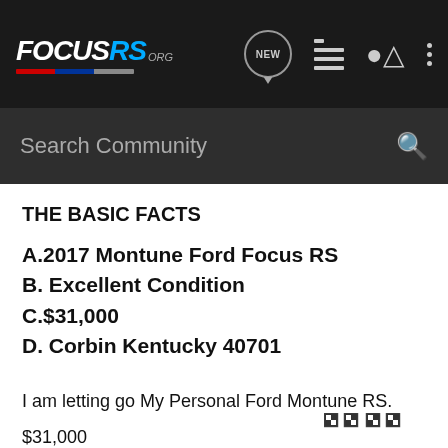[Figure (screenshot): FocusRS.org website navigation bar with logo, search bar, and icons for new, list, user, and more.]
THE BASIC FACTS
A.2017 Montune Ford Focus RS
B. Excellent Condition
C.$31,000
D. Corbin Kentucky 40701
I am letting go My Personal Ford Montune RS.
$31,000
This thing is exceptional, new RS Engine 5k miles ago